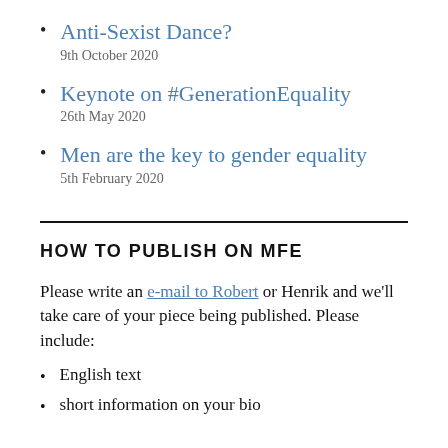Anti-Sexist Dance?
9th October 2020
Keynote on #GenerationEquality
26th May 2020
Men are the key to gender equality
5th February 2020
HOW TO PUBLISH ON MFE
Please write an e-mail to Robert or Henrik and we'll take care of your piece being published. Please include:
English text
short information on your bio